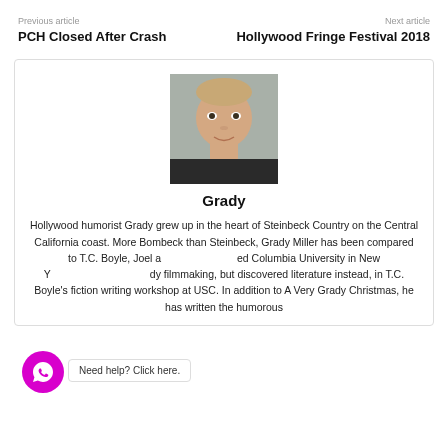Previous article | Next article
PCH Closed After Crash
Hollywood Fringe Festival 2018
[Figure (photo): Headshot of Grady Miller, a middle-aged man with short hair, grey background]
Grady
Hollywood humorist Grady grew up in the heart of Steinbeck Country on the Central California coast. More Bombeck than Steinbeck, Grady Miller has been compared to T.C. Boyle, Joel a ... ed Columbia University in New Y... dy filmmaking, but discovered literature instead, in T.C. Boyle's fiction writing workshop at USC. In addition to A Very Grady Christmas, he has written the humorous